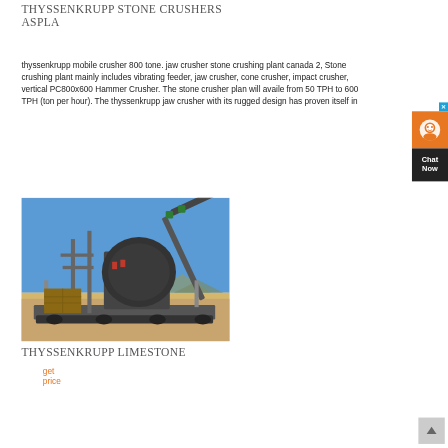THYSSENKRUPP STONE CRUSHERS ASPLA
thyssenkrupp mobile crusher 800 tone. jaw crusher stone crushing plant canada 2, Stone crushing plant mainly includes vibrating feeder, jaw crusher, cone crusher, impact crusher, vertical PC800x600 Hammer Crusher. The stone crusher plan will availe from 50 TPH to 600 TPH (ton per hour). The thyssenkrupp jaw crusher with its rugged design has proven itself in
get price
[Figure (photo): Photograph of a ThyssenKrupp mobile stone crusher machine installed outdoors in a desert/arid landscape with blue sky, showing conveyor belts, steel framework, and industrial crushing equipment on a wheeled platform.]
THYSSENKRUPP LIMESTONE